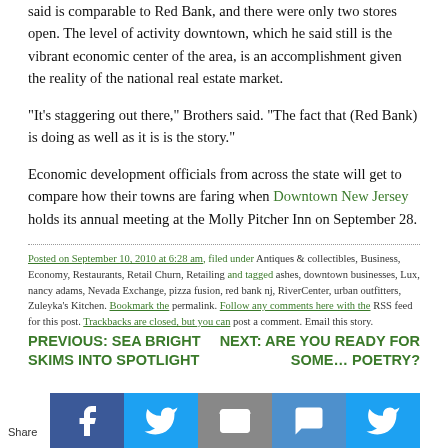said is comparable to Red Bank, and there were only two stores open. The level of activity downtown, which he said still is the vibrant economic center of the area, is an accomplishment given the reality of the national real estate market.
“It’s staggering out there,” Brothers said. “The fact that (Red Bank) is doing as well as it is is the story.”
Economic development officials from across the state will get to compare how their towns are faring when Downtown New Jersey holds its annual meeting at the Molly Pitcher Inn on September 28.
Posted on September 10, 2010 at 6:28 am, filed under Antiques & collectibles, Business, Economy, Restaurants, Retail Churn, Retailing and tagged ashes, downtown businesses, Lux, nancy adams, Nevada Exchange, pizza fusion, red bank nj, RiverCenter, urban outfitters, Zuleyka’s Kitchen. Bookmark the permalink. Follow any comments here with the RSS feed for this post. Trackbacks are closed, but you can post a comment. Email this story.
PREVIOUS: SEA BRIGHT SKIMS INTO SPOTLIGHT
NEXT: ARE YOU READY FOR SOME… POETRY?